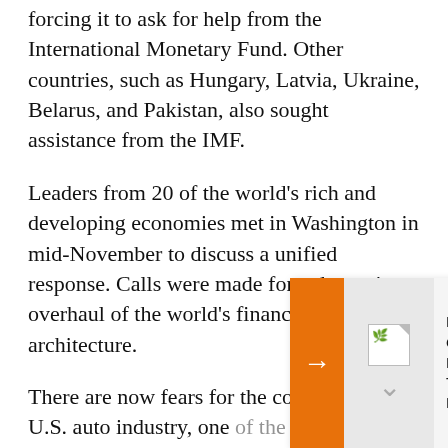forcing it to ask for help from the International Monetary Fund. Other countries, such as Hungary, Latvia, Ukraine, Belarus, and Pakistan, also sought assistance from the IMF.
Leaders from 20 of the world's rich and developing economies met in Washington in mid-November to discuss a unified response. Calls were made for a dramatic overhaul of the world's financial architecture.
There are now fears for the collapse of the U.S. auto industry, one of the backbones of American industry...
The Fed's key ... effectively elin... policy.
[Figure (other): A popup/tooltip overlay showing an orange arrow button on the left, a broken image icon placeholder in the center, and a text panel reading 'Despite Sweeping Sanctions Over The Ukraine War, Russian Unemployment Touches Post-Soviet Low. Here's Why.']